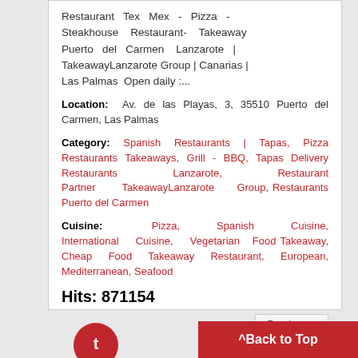Restaurant Tex Mex - Pizza - Steakhouse Restaurant- Takeaway Puerto del Carmen Lanzarote | TakeawayLanzarote Group | Canarias | Las Palmas Open daily :...
Location: Av. de las Playas, 3, 35510 Puerto del Carmen, Las Palmas
Category: Spanish Restaurants | Tapas, Pizza Restaurants Takeaways, Grill - BBQ, Tapas Delivery Restaurants Lanzarote, Restaurant Partner TakeawayLanzarote Group, Restaurants Puerto del Carmen
Cuisine: Pizza, Spanish Cuisine, International Cuisine, Vegetarian Food Takeaway, Cheap Food Takeaway Restaurant, European, Mediterranean, Seafood
Hits: 871154
Read more
^ Back to Top